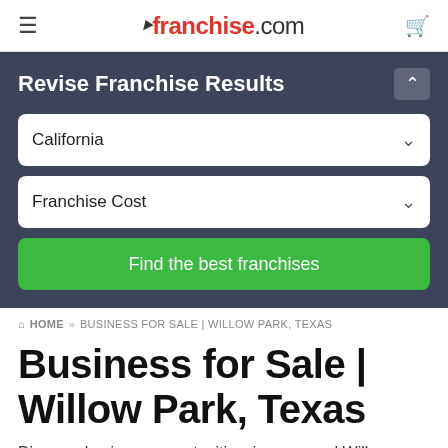franchise.com
Revise Franchise Results
California
Franchise Cost
Find the best franchises
HOME » BUSINESS FOR SALE | WILLOW PARK, TEXAS
Business for Sale | Willow Park, Texas
Discover business opportunities, in or around Willow Park,